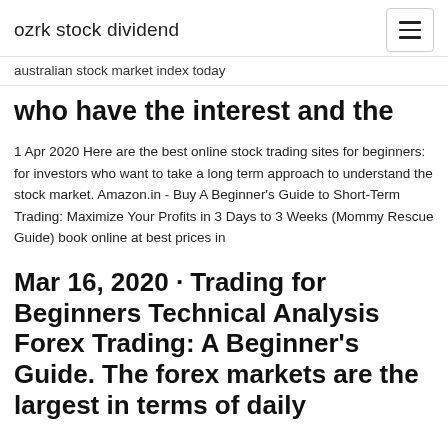ozrk stock dividend
australian stock market index today
who have the interest and the
1 Apr 2020 Here are the best online stock trading sites for beginners: for investors who want to take a long term approach to understand the stock market. Amazon.in - Buy A Beginner's Guide to Short-Term Trading: Maximize Your Profits in 3 Days to 3 Weeks (Mommy Rescue Guide) book online at best prices in
Mar 16, 2020 · Trading for Beginners Technical Analysis Forex Trading: A Beginner's Guide. The forex markets are the largest in terms of daily